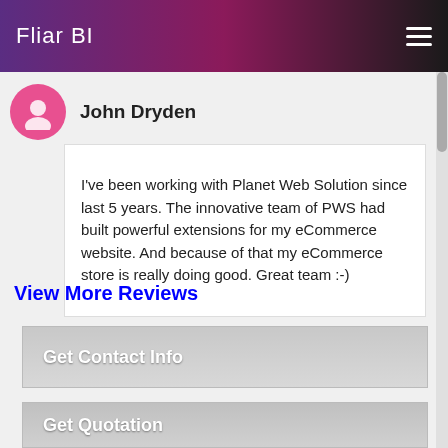Fliar BI
John Dryden
I've been working with Planet Web Solution since last 5 years. The innovative team of PWS had built powerful extensions for my eCommerce website. And because of that my eCommerce store is really doing good. Great team :-)
View More Reviews
Get Contact Info
Get Quotation